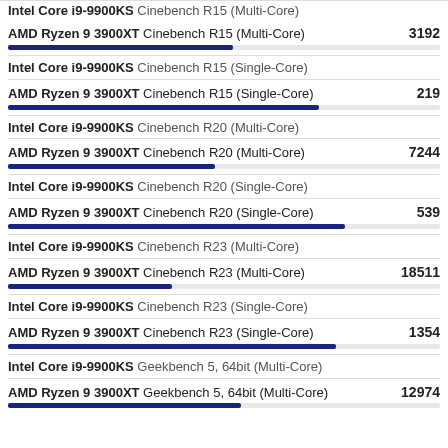Intel Core i9-9900KS Cinebench R15 (Multi-Core)
AMD Ryzen 9 3900XT Cinebench R15 (Multi-Core) 3192
Intel Core i9-9900KS Cinebench R15 (Single-Core)
AMD Ryzen 9 3900XT Cinebench R15 (Single-Core) 219
Intel Core i9-9900KS Cinebench R20 (Multi-Core)
AMD Ryzen 9 3900XT Cinebench R20 (Multi-Core) 7244
Intel Core i9-9900KS Cinebench R20 (Single-Core)
AMD Ryzen 9 3900XT Cinebench R20 (Single-Core) 539
Intel Core i9-9900KS Cinebench R23 (Multi-Core)
AMD Ryzen 9 3900XT Cinebench R23 (Multi-Core) 18511
Intel Core i9-9900KS Cinebench R23 (Single-Core)
AMD Ryzen 9 3900XT Cinebench R23 (Single-Core) 1354
Intel Core i9-9900KS Geekbench 5, 64bit (Multi-Core)
AMD Ryzen 9 3900XT Geekbench 5, 64bit (Multi-Core) 12974